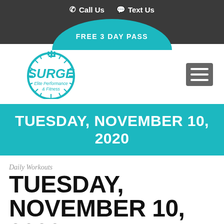Call Us  Text Us
[Figure (logo): FREE 3 DAY PASS teal arch button]
[Figure (logo): Surge Elite Performance & Fitness circular logo in teal, with hamburger menu icon]
TUESDAY, NOVEMBER 10, 2020
Daily Workouts
TUESDAY, NOVEMBER 10, 2020